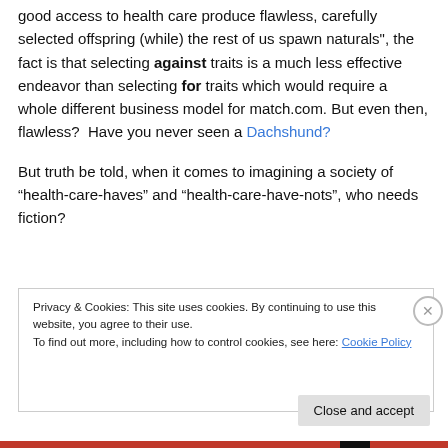good access to health care produce flawless, carefully selected offspring (while) the rest of us spawn naturals", the fact is that selecting against traits is a much less effective endeavor than selecting for traits which would require a whole different business model for match.com. But even then, flawless?  Have you never seen a Dachshund?

But truth be told, when it comes to imagining a society of “health-care-haves” and “health-care-have-nots”, who needs fiction?
Privacy & Cookies: This site uses cookies. By continuing to use this website, you agree to their use.
To find out more, including how to control cookies, see here: Cookie Policy